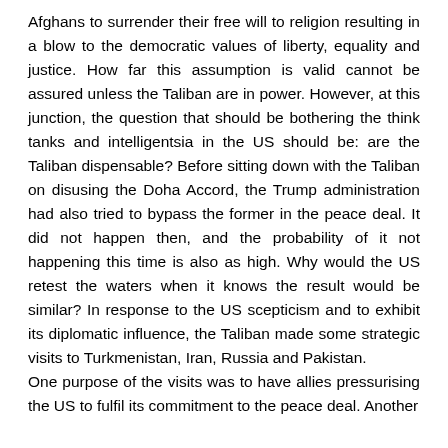Afghans to surrender their free will to religion resulting in a blow to the democratic values of liberty, equality and justice. How far this assumption is valid cannot be assured unless the Taliban are in power. However, at this junction, the question that should be bothering the think tanks and intelligentsia in the US should be: are the Taliban dispensable? Before sitting down with the Taliban on disusing the Doha Accord, the Trump administration had also tried to bypass the former in the peace deal. It did not happen then, and the probability of it not happening this time is also as high. Why would the US retest the waters when it knows the result would be similar? In response to the US scepticism and to exhibit its diplomatic influence, the Taliban made some strategic visits to Turkmenistan, Iran, Russia and Pakistan.
One purpose of the visits was to have allies pressurising the US to fulfil its commitment to the peace deal. Another